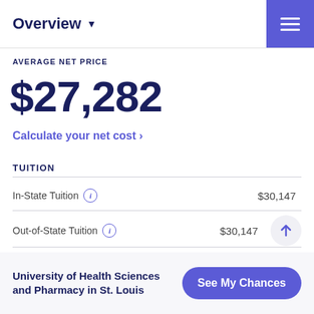Overview
AVERAGE NET PRICE
$27,282
Calculate your net cost ›
TUITION
|  |  |
| --- | --- |
| In-State Tuition ⓘ | $30,147 |
| Out-of-State Tuition ⓘ | $30,147 |
University of Health Sciences and Pharmacy in St. Louis
See My Chances